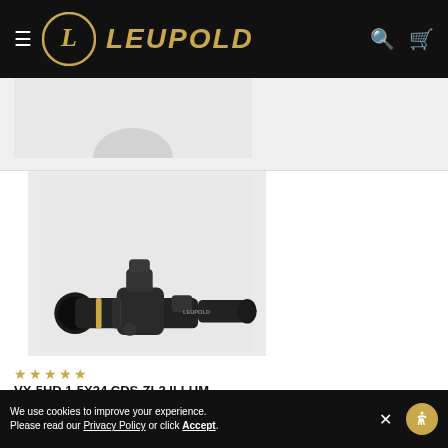LEUPOLD
[Figure (photo): Leupold VX-5HD 1-5x24 CDS-ZL2 rifle scope in matte black finish with gold accent ring, shown on light gray background]
★★★★★
VX-5HD 1-5X24 CDS-ZL2 ILLUM. FIREDOT DUPLEX
$1,099.99
We use cookies to improve your experience. Please read our Privacy Policy or click Accept.